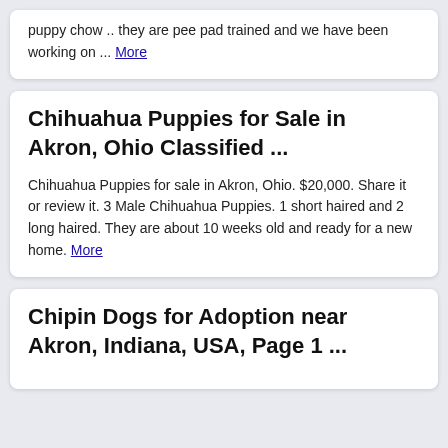puppy chow .. they are pee pad trained and we have been working on ... More
Chihuahua Puppies for Sale in Akron, Ohio Classified ...
Chihuahua Puppies for sale in Akron, Ohio. $20,000. Share it or review it. 3 Male Chihuahua Puppies. 1 short haired and 2 long haired. They are about 10 weeks old and ready for a new home. More
Chipin Dogs for Adoption near Akron, Indiana, USA, Page 1 ...